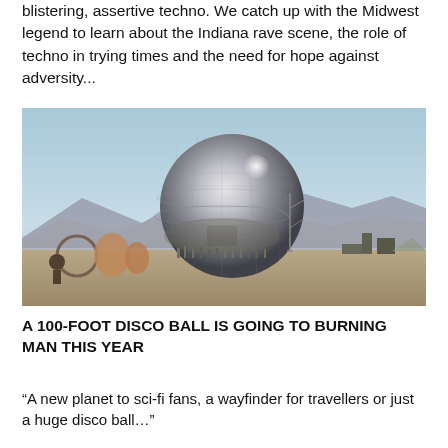blistering, assertive techno. We catch up with the Midwest legend to learn about the Indiana rave scene, the role of techno in trying times and the need for hope against adversity...
[Figure (photo): A large mirrored silver disco ball sphere installation at what appears to be the Burning Man festival site in a desert landscape, with mountains in the background, a crane structure beside it, and various other art installations and vehicles visible.]
A 100-FOOT DISCO BALL IS GOING TO BURNING MAN THIS YEAR
“A new planet to sci-fi fans, a wayfinder for travellers or just a huge disco ball…”